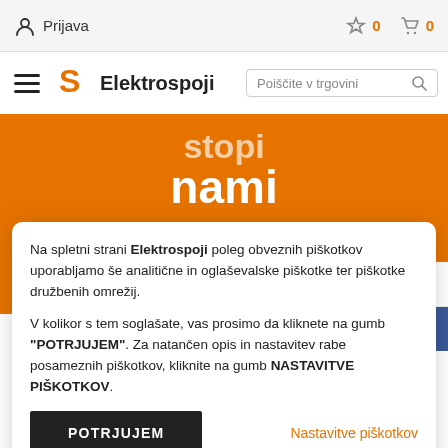Prijava  ☆ 0  🛒 0
[Figure (logo): Elektrospoji logo with orange S icon and bold text 'Elektrospoji']
Poiščite v trgovini
[Figure (illustration): Orange banner with white text 'stopi' and 'nami', with a white location pin icon and text 'Obiščite nas']
Na spletni strani Elektrospoji poleg obveznih piškotkov uporabljamo še analitične in oglaševalske piškotke ter piškotke družbenih omrežij.
V kolikor s tem soglašate, vas prosimo da kliknete na gumb "POTRJUJEM". Za natančen opis in nastavitev rabe posameznih piškotkov, kliknite na gumb NASTAVITVE PIŠKOTKOV.
POTRJUJEM
Nastavitve piškotkov